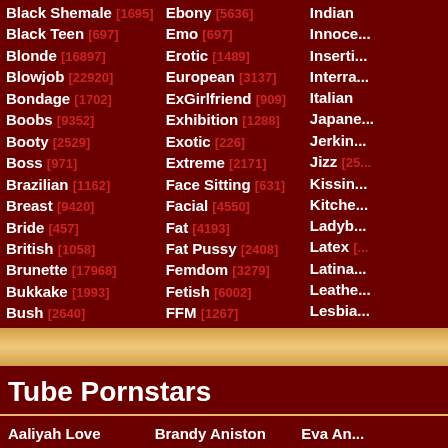Black Shemale [1695]
Black Teen [697]
Blonde [16897]
Blowjob [22920]
Bondage [1702]
Boobs [9352]
Booty [2529]
Boss [971]
Brazilian [1162]
Breast [9420]
Bride [457]
British [1058]
Brunette [17968]
Bukkake [1993]
Bush [2640]
Ebony [5636]
Emo [697]
Erotic [1489]
European [3137]
ExGirlfriend [909]
Exhibition [1288]
Exotic [226]
Extreme [2171]
Face Sitting [631]
Facial [4550]
Fat [4193]
Fat Pussy [2408]
Femdom [3279]
Fetish [6002]
FFM [1267]
Tube Pornstars
Aaliyah Love
Abbey Brooks
Adrianna Nicole
Alanah Rae
Brandy Aniston
Brandy Smile
Brooklyn Lee
Carmella Bing
Eva An...
Eva Ka...
France...
Gabrie...